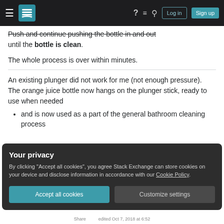Stack Exchange navigation bar with hamburger menu, logo, help, chat, search icons, Log in and Sign up buttons
Push and continue pushing the bottle in and out until the bottle is clean.
The whole process is over within minutes.
An existing plunger did not work for me (not enough pressure).
The orange juice bottle now hangs on the plunger stick, ready to use when needed
and is now used as a part of the general bathroom cleaning process
Your privacy
By clicking "Accept all cookies", you agree Stack Exchange can store cookies on your device and disclose information in accordance with our Cookie Policy.
Accept all cookies
Customize settings
Share  edited Oct 7, 2018 at 6:52